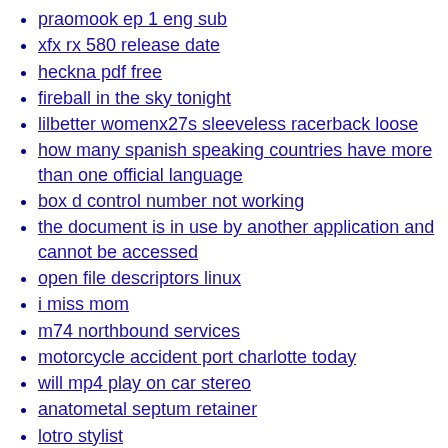praomook ep 1 eng sub
xfx rx 580 release date
heckna pdf free
fireball in the sky tonight
lilbetter womenx27s sleeveless racerback loose
how many spanish speaking countries have more than one official language
box d control number not working
the document is in use by another application and cannot be accessed
open file descriptors linux
i miss mom
m74 northbound services
motorcycle accident port charlotte today
will mp4 play on car stereo
anatometal septum retainer
lotro stylist
harry potter fanfiction lord black helps harry
nvc state gov prep
bru script roblox
woolpack elstead menu
is giant teddy legit
barton on sea webcam
older briggs and stratton parts
vacasa reviews by owners